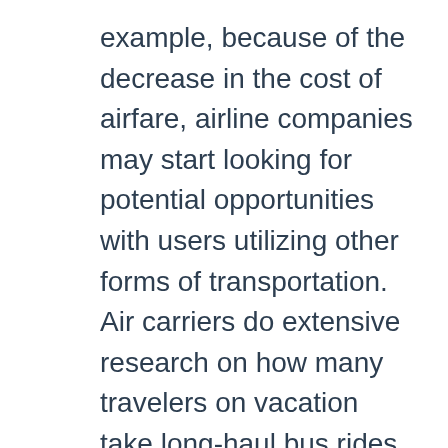example, because of the decrease in the cost of airfare, airline companies may start looking for potential opportunities with users utilizing other forms of transportation. Air carriers do extensive research on how many travelers on vacation take long-haul bus rides and trains. Some important questions can be the ones from below: